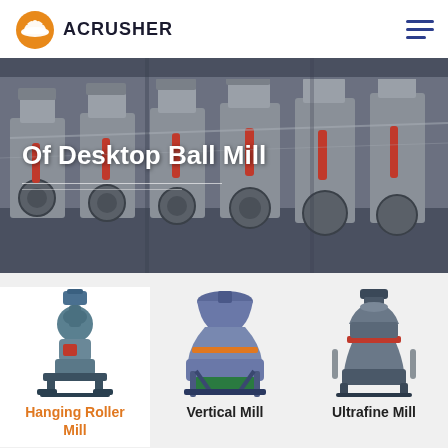[Figure (logo): Acrusher logo: orange hard hat icon with white crown lines, bold text ACRUSHER in dark navy]
Of Desktop Ball Mill
[Figure (photo): Industrial manufacturing floor with rows of large grey vertical grinding/milling machines with red hydraulic cylinders and large drive wheels]
[Figure (photo): Hanging Roller Mill machine - compact grey and red industrial grinding mill]
Hanging Roller Mill
[Figure (photo): Vertical Mill machine - large industrial vertical grinding mill in grey and orange/green]
Vertical Mill
[Figure (photo): Ultrafine Mill machine - compact tall industrial ultrafine grinding mill]
Ultrafine Mill